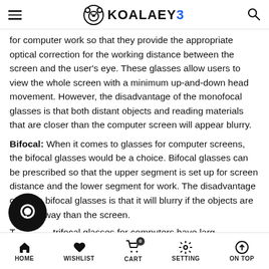KOALAEYE
for computer work so that they provide the appropriate optical correction for the working distance between the screen and the user's eye. These glasses allow users to view the whole screen with a minimum up-and-down head movement. However, the disadvantage of the monofocal glasses is that both distant objects and reading materials that are closer than the computer screen will appear blurry.
Bifocal: When it comes to glasses for computer screens, the bifocal glasses would be a choice. Bifocal glasses can be prescribed so that the upper segment is set up for screen distance and the lower segment for work. The disadvantage of these bifocal glasses is that it will blurry if the objects are farther away than the screen.
T... trifocal glasses for computers have large...
HOME  WISHLIST  CART  SETTING  ON TOP